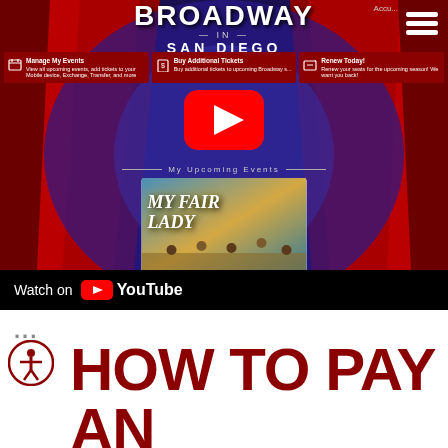[Figure (screenshot): Broadway San Diego website screenshot showing the homepage with red theater curtains background, navigation menu with Manage My Events, Buy Additional Tickets, and Renew Today! buttons, a YouTube play button overlay, My Upcoming Events section featuring My Fair Lady show card, and a Watch on YouTube bar at the bottom.]
...
HOW TO PAY AN INVOICE